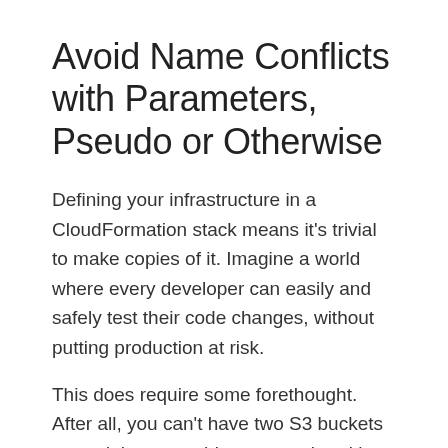Avoid Name Conflicts with Parameters, Pseudo or Otherwise
Defining your infrastructure in a CloudFormation stack means it's trivial to make copies of it. Imagine a world where every developer can easily and safely test their code changes, without putting production at risk.
This does require some forethought. After all, you can't have two S3 buckets named the same thing, so stacks with hardcoded names are likely to be hard to duplicate.
To ensure multiple instances of a stack don't collide with each other, you need some forethought.